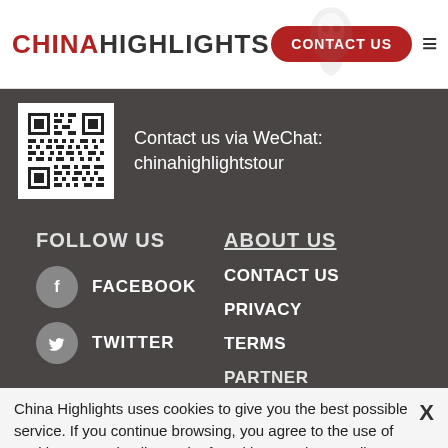CHINA HIGHLIGHTS | CONTACT US
[Figure (other): QR code for WeChat contact]
Contact us via WeChat: chinahighlightstour
FOLLOW US
FACEBOOK
TWITTER
ABOUT US
CONTACT US
PRIVACY
TERMS
PARTNER
China Highlights uses cookies to give you the best possible service. If you continue browsing, you agree to the use of cookies. More details can be found in our privacy policy.